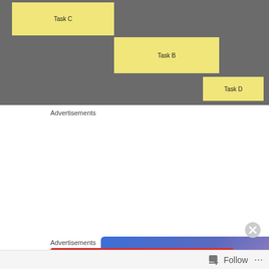[Figure (other): Gantt-style chart showing tasks C, B, D as yellow bars on dark gray background]
Advertisements
[Figure (infographic): Advertisement banner: 'Simplified pricing for everything you need.' with Build Your Website button and price tag image]
Advertisements
[Figure (infographic): Partial red advertisement banner showing 'An app by listeners' with Dis-Trip logo]
Follow ...